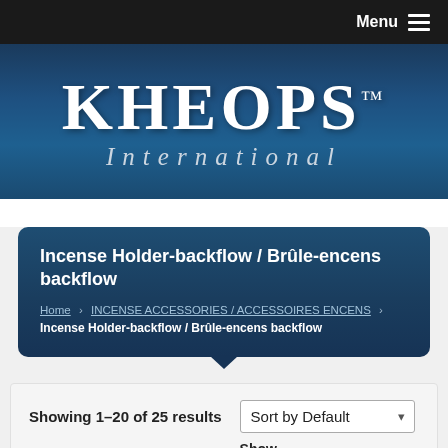Menu ☰
[Figure (logo): Kheops International logo — large white serif text on dark blue gradient background]
Incense Holder-backflow / Brûle-encens backflow
Home › INCENSE ACCESSORIES / ACCESSOIRES ENCENS › Incense Holder-backflow / Brûle-encens backflow
Showing 1–20 of 25 results
Sort by Default
Show
Default
per page